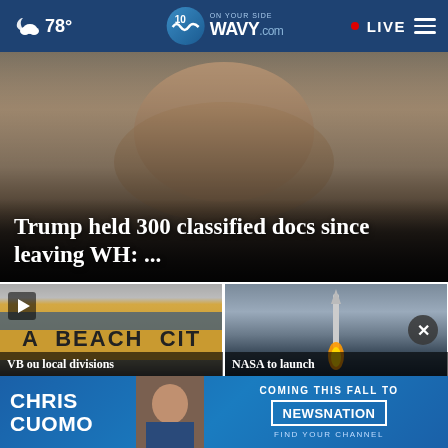☁ 78° | WAVY.com On Your Side 10 | LIVE
[Figure (photo): Close-up photo of a man (Donald Trump) pointing finger, used as hero image for news article]
Trump held 300 classified docs since leaving WH: ...
[Figure (photo): School bus with text 'A BEACH CIT' visible, with video play button overlay]
VB ou local divisions
[Figure (photo): Rocket launching at night/dusk with bright flame at base]
NASA to launch
[Figure (screenshot): Advertisement banner: Chris Cuomo Coming This Fall to NewsNation - Find Your Channel]
CHRIS CUOMO COMING THIS FALL TO NEWSNATION FIND YOUR CHANNEL